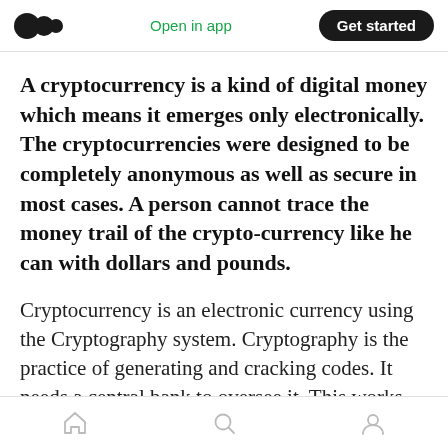Medium app header with logo, Open in app, Get started
A cryptocurrency is a kind of digital money which means it emerges only electronically. The cryptocurrencies were designed to be completely anonymous as well as secure in most cases. A person cannot trace the money trail of the crypto-currency like he can with dollars and pounds.
Cryptocurrency is an electronic currency using the Cryptography system. Cryptography is the practice of generating and cracking codes. It needs a central bank to oversee it. This works
Bottom navigation bar with home, search, and profile icons